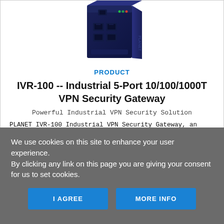[Figure (photo): Photo of PLANET IVR-100 industrial VPN security gateway device, dark navy blue box with ethernet ports visible]
PRODUCT
IVR-100 -- Industrial 5-Port 10/100/1000T VPN Security Gateway
Powerful Industrial VPN Security Solution
PLANET IVR-100 Industrial VPN Security Gateway, an all-in-
We use cookies on this site to enhance your user experience.
By clicking any link on this page you are giving your consent for us to set cookies.
I AGREE
MORE INFO